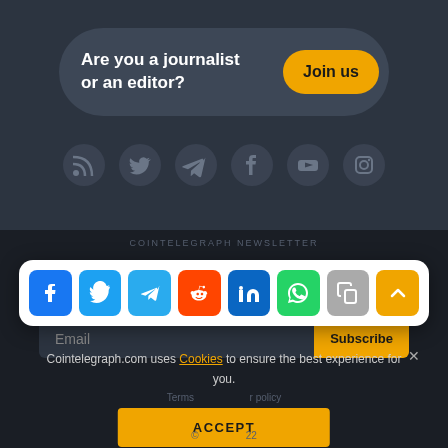Are you a journalist or an editor?
Join us
[Figure (infographic): Social media icon circles: RSS, Twitter, Telegram, Facebook, YouTube, Instagram — dark grey circles on dark background]
COINTELEGRAPH NEWSLETTER
[Figure (infographic): Share bar with colored icons: Facebook (blue), Twitter (light blue), Telegram (blue), Reddit (orange-red), LinkedIn (dark blue), WhatsApp (green), Copy (grey), Scroll-to-top (yellow)]
Email
Subscribe
Cointelegraph.com uses Cookies to ensure the best experience for you.
ACCEPT
Terms  r policy
© 22